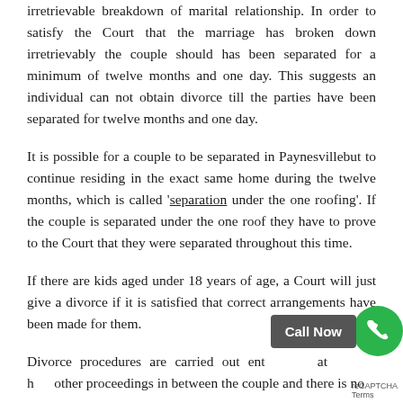irretrievable breakdown of marital relationship. In order to satisfy the Court that the marriage has broken down irretrievably the couple should has been separated for a minimum of twelve months and one day. This suggests an individual can not obtain divorce till the parties have been separated for twelve months and one day.
It is possible for a couple to be separated in Paynesvillebut to continue residing in the exact same home during the twelve months, which is called 'separation under the one roofing'. If the couple is separated under the one roof they have to prove to the Court that they were separated throughout this time.
If there are kids aged under 18 years of age, a Court will just give a divorce if it is satisfied that correct arrangements have been made for them.
Divorce procedures are carried out ent at h other proceedings in between the couple and there is no